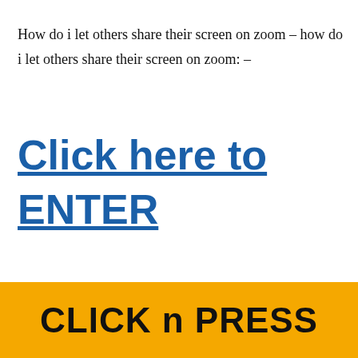How do i let others share their screen on zoom – how do i let others share their screen on zoom: –
Click here to ENTER
[Figure (other): Orange/yellow banner with bold black text reading 'CLICK n PRESS']